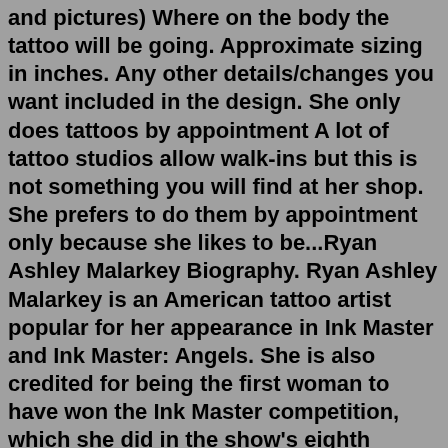and pictures) Where on the body the tattoo will be going. Approximate sizing in inches. Any other details/changes you want included in the design. She only does tattoos by appointment A lot of tattoo studios allow walk-ins but this is not something you will find at her shop. She prefers to do them by appointment only because she likes to be...Ryan Ashley Malarkey Biography. Ryan Ashley Malarkey is an American tattoo artist popular for her appearance in Ink Master and Ink Master: Angels. She is also credited for being the first woman to have won the Ink Master competition, which she did in the show's eighth season in 2016. Age 33 (2021) Weight 60 kg. Height 1 meter. US citizenship. Ethnicity White. Profession Career Television personality and tattoo artist. Marital status Married. Spouse Arlo DiCristina (2019) Dimensions 33-24-33.Ryan Ashley Malarkey Biography. Ryan Ashley Malarkey is an American tattoo artist popular for her appearance in Ink Master and Ink Master: Angels. She is also credited for being the first woman to have won the Ink Master